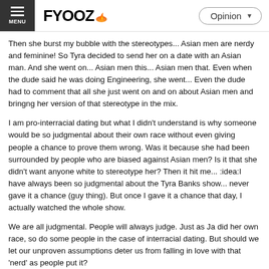FYOOZ — Opinion
Then she burst my bubble with the stereotypes... Asian men are nerdy and feminine! So Tyra decided to send her on a date with an Asian man. And she went on... Asian men this... Asian men that. Even when the dude said he was doing Engineering, she went... Even the dude had to comment that all she just went on and on about Asian men and bringng her version of that stereotype in the mix.
I am pro-interracial dating but what I didn't understand is why someone would be so judgmental about their own race without even giving people a chance to prove them wrong. Was it because she had been surrounded by people who are biased against Asian men? Is it that she didn't want anyone white to stereotype her? Then it hit me... :idea:I have always been so judgmental about the Tyra Banks show... never gave it a chance (guy thing). But once I gave it a chance that day, I actually watched the whole show.
We are all judgmental. People will always judge. Just as Ja did her own race, so do some people in the case of interracial dating. But should we let our unproven assumptions deter us from falling in love with that 'nerd' as people put it?